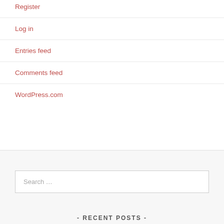Register
Log in
Entries feed
Comments feed
WordPress.com
Search …
- RECENT POSTS -